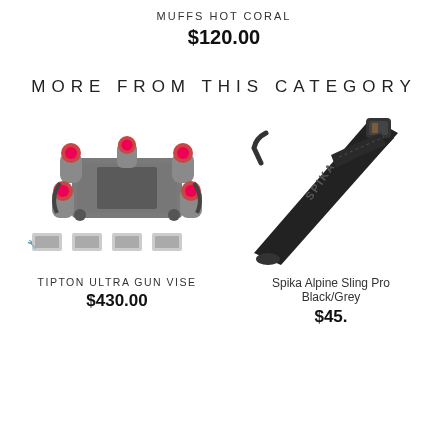MUFFS HOT CORAL
$120.00
MORE FROM THIS CATEGORY
[Figure (photo): Tipton Ultra Gun Vise product photo showing a grey and red multi-piece gun cleaning vise system with accessories shown below]
TIPTON ULTRA GUN VISE
$430.00
[Figure (photo): Spika Alpine Sling Pro Black/Grey product photo showing a black gun sling strap with SPIKA branding]
Spika Alpine Sling Pro Black/Grey
$45.00